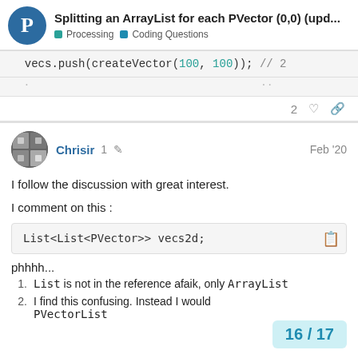Splitting an ArrayList for each PVector (0,0) (upd... | Processing | Coding Questions
vecs.push(createVector(100, 100)); // 2
2 ♡ 🔗
Chrisir 1 ✏ Feb '20
I follow the discussion with great interest.
I comment on this :
List<List<PVector>> vecs2d;
phhhh...
1. List is not in the reference afaik, only ArrayList
2. I find this confusing. Instead I would PVectorList
16 / 17